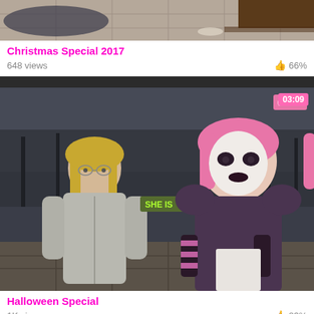[Figure (screenshot): Top portion of a video card showing a thumbnail image (partially visible) of a 3D animated scene indoors]
Christmas Special 2017
648 views   👍 66%
[Figure (screenshot): Video thumbnail showing two 3D animated characters in a dark outdoor scene, one with blonde hair and hoodie, one with pink hair and clown makeup. Duration badge shows 03:09. Text bubble says 'SHE IS']
Halloween Special
1K views   👍 83%
[Figure (screenshot): Partial bottom thumbnail of another video card showing a blue-tinted outdoor scene]